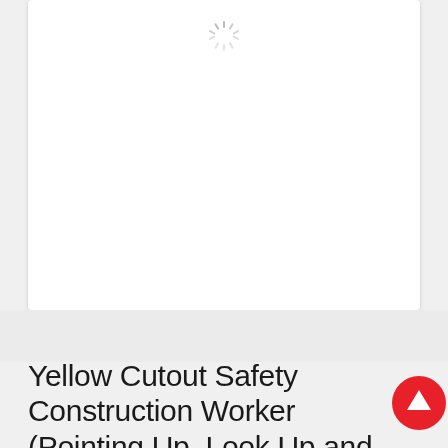[Figure (other): White product image card showing a loading spinner (radial dashes) near the top center, with large empty white space below — the main product image is still loading. The card has a light drop shadow on a light gray background.]
Yellow Cutout Safety Construction Worker (Pointing Up, Look Up and Live) Sign